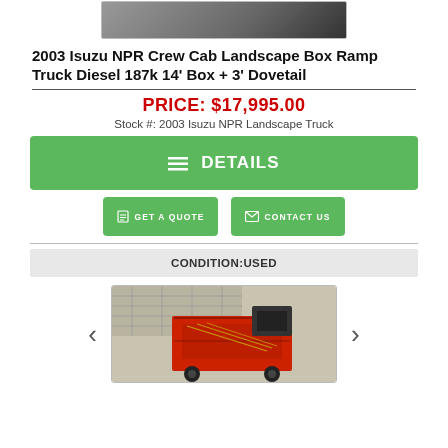[Figure (photo): Top portion of a truck or equipment photo, partially visible at the top of the page]
2003 Isuzu NPR Crew Cab Landscape Box Ramp Truck Diesel 187k 14' Box + 3' Dovetail
PRICE: $17,995.00
Stock #: 2003 Isuzu NPR Landscape Truck
≡ DETAILS
GET A QUOTE
CONTACT US
CONDITION:USED
[Figure (photo): Red agricultural or landscaping equipment (appears to be a seeder or similar machine) shown in a photo carousel with left and right navigation arrows]